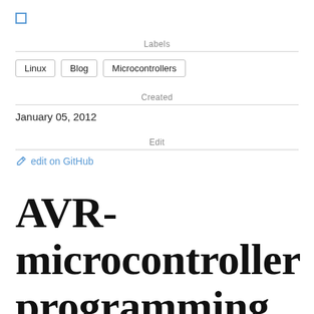[Figure (other): Small square icon (checkbox or similar) in blue/teal]
Labels
Linux
Blog
Microcontrollers
Created
January 05, 2012
Edit
✏  edit on GitHub
AVR-microcontroller programming under